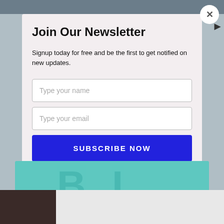Join Our Newsletter
Signup today for free and be the first to get notified on new updates.
[Figure (screenshot): Text input field with placeholder 'Type your name']
[Figure (screenshot): Text input field with placeholder 'Type your email']
SUBSCRIBE NOW
[Figure (logo): BI Explorium teal logo banner with large stylized 'BI' letters and 'BI EXPLORIUM' text below]